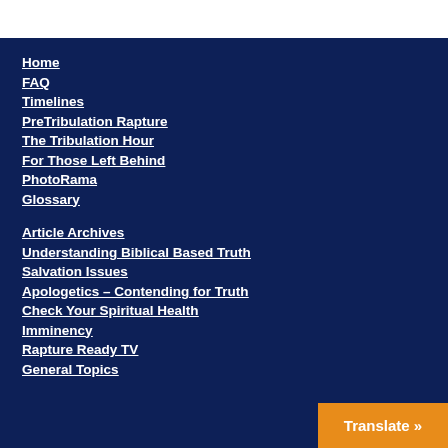Home
FAQ
Timelines
PreTribulation Rapture
The Tribulation Hour
For Those Left Behind
PhotoRama
Glossary
Article Archives
Understanding Biblical Based Truth
Salvation Issues
Apologetics – Contending for Truth
Check Your Spiritual Health
Imminency
Rapture Ready TV
General Topics
Translate »